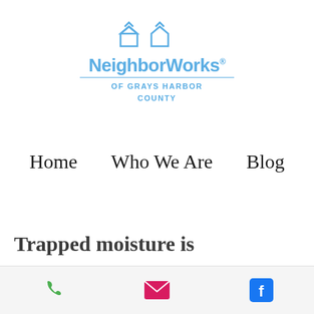[Figure (logo): NeighborWorks of Grays Harbor County logo with house icon and blue text]
Home    Who We Are    Blog
Trapped moisture is
[Figure (other): Mobile footer bar with phone icon, email icon, and Facebook icon]